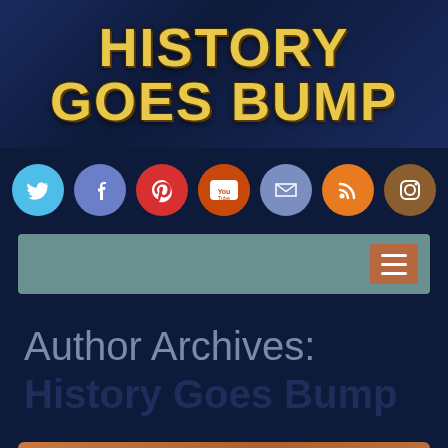[Figure (logo): History Goes Bump podcast banner with yellow distressed horror-style text on dark navy background]
[Figure (infographic): Row of 7 social media icon circles: Twitter (blue), Facebook (purple-blue), Pinterest (red), YouTube (orange-red), Email (blue-grey), RSS (orange), Instagram (brown)]
[Figure (screenshot): Navigation bar with teal/sage background and orange hamburger menu button on the right]
Author Archives: History Goes Bump
Haunted Fayetteville, North Carolina, Ep. 448